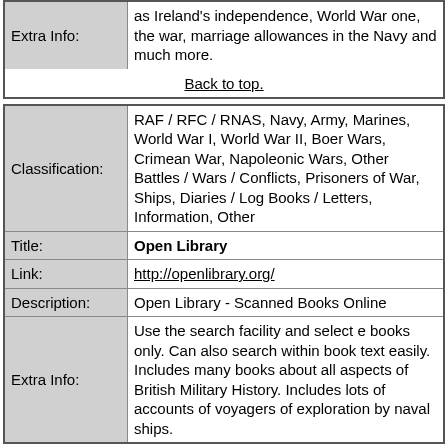| Label | Value |
| --- | --- |
| Extra Info: | as Ireland's independence, World War one, the war, marriage allowances in the Navy and much more. |
Back to top.
| Label | Value |
| --- | --- |
| Classification: | RAF / RFC / RNAS, Navy, Army, Marines, World War I, World War II, Boer Wars, Crimean War, Napoleonic Wars, Other Battles / Wars / Conflicts, Prisoners of War, Ships, Diaries / Log Books / Letters, Information, Other |
| Title: | Open Library |
| Link: | http://openlibrary.org/ |
| Description: | Open Library - Scanned Books Online |
| Extra Info: | Use the search facility and select e books only. Can also search within book text easily. Includes many books about all aspects of British Military History. Includes lots of accounts of voyagers of exploration by naval ships. |
| Label | Value |
| --- | --- |
| Classification: | Graves / Memorials / Roll of Honour, RAF / RFC / RNAS, Marines, World War I |
| Title: | Royal Naval Division Records 1914-1920 |